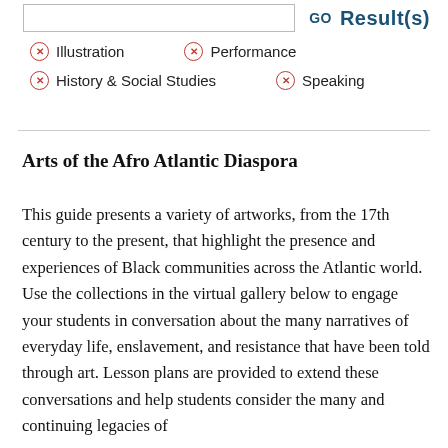GO Result(s)
Illustration
Performance
History & Social Studies
Speaking
Arts of the Afro Atlantic Diaspora
This guide presents a variety of artworks, from the 17th century to the present, that highlight the presence and experiences of Black communities across the Atlantic world. Use the collections in the virtual gallery below to engage your students in conversation about the many narratives of everyday life, enslavement, and resistance that have been told through art. Lesson plans are provided to extend these conversations and help students consider the many and continuing legacies of